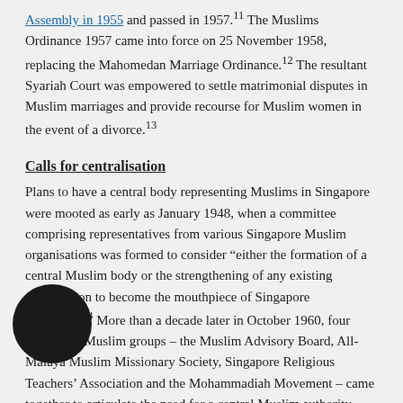Assembly in 1955 and passed in 1957.11 The Muslims Ordinance 1957 came into force on 25 November 1958, replacing the Mahomedan Marriage Ordinance.12 The resultant Syariah Court was empowered to settle matrimonial disputes in Muslim marriages and provide recourse for Muslim women in the event of a divorce.13
Calls for centralisation
Plans to have a central body representing Muslims in Singapore were mooted as early as January 1948, when a committee comprising representatives from various Singapore Muslim organisations was formed to consider "either the formation of a central Muslim body or the strengthening of any existing organisation to become the mouthpiece of Singapore Muslims".14 More than a decade later in October 1960, four prominent Muslim groups – the Muslim Advisory Board, All-Malaya Muslim Missionary Society, Singapore Religious Teachers' Association and the Mohammadiah Movement – came together to articulate the need for a central Muslim authority. The [committee] headed by Ahmad Ibrahim, the first state advocate general [of Sin]gapore, who later played a major role in the introduction of [legislation for overseeing the administration of Muslim affairs]